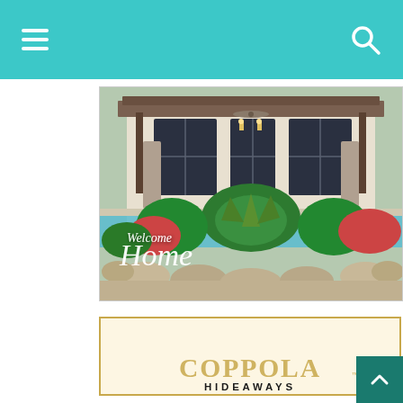Navigation bar with hamburger menu and search icon
[Figure (photo): Tropical resort villa exterior with pool, lush tropical plants, stone landscaping, and large windows. Overlaid with italic white text 'Welcome Home'.]
[Figure (logo): The Family Coppola Hideaways logo with gold border on cream background. Text arranged with 'THE FAMILY' arched above, and 'COPPOLA' in large gold letters, 'HIDEAWAYS' below in dark bold uppercase letters.]